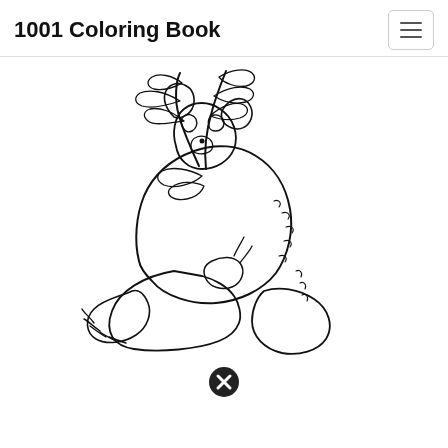1001 Coloring Book
[Figure (illustration): Line drawing coloring book illustration of a panda bear sitting and eating bamboo leaves. The panda is drawn in black outlines on white background, showing the bear's face partially visible behind bamboo sprigs, with large paws and fluffy fur texture indicated by short line strokes.]
[Figure (other): A close button icon — black circle with white X symbol inside, indicating a UI close/cancel button.]